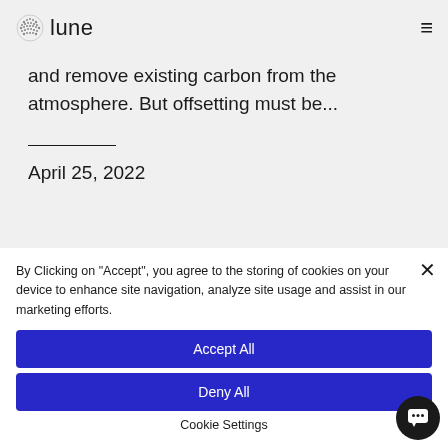lune
and remove existing carbon from the atmosphere. But offsetting must be...
April 25, 2022
By Clicking on "Accept", you agree to the storing of cookies on your device to enhance site navigation, analyze site usage and assist in our marketing efforts.
Accept All
Deny All
Cookie Settings